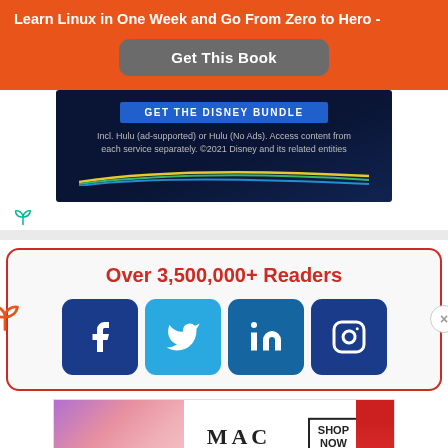Learn Linux in One Week and Go From Zero to Hero -
Get This Book
[Figure (screenshot): Disney Bundle advertisement banner with dark blue background, GET THE DISNEY BUNDLE button, and text about Hulu access]
[Figure (infographic): Social media follow widget showing Over 3,500,000+ Readers with Facebook, Twitter, LinkedIn, and Instagram icons]
[Figure (screenshot): MAC cosmetics advertisement showing lipsticks with SHOP NOW button]